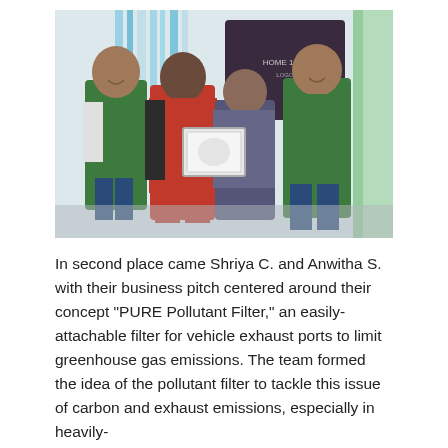[Figure (photo): Four people standing together posing for a photo. Two men wearing green t-shirts are on the left and right ends. A woman in a red dress and a woman in a striped top holding a framed certificate are in the center. The background shows colorful streamers and a display screen.]
In second place came Shriya C. and Anwitha S. with their business pitch centered around their concept "PURE Pollutant Filter," an easily-attachable filter for vehicle exhaust ports to limit greenhouse gas emissions. The team formed the idea of the pollutant filter to tackle this issue of carbon and exhaust emissions, especially in heavily-